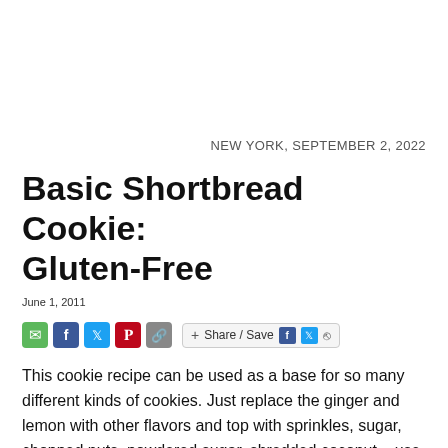NEW YORK, SEPTEMBER 2, 2022
Basic Shortbread Cookie: Gluten-Free
June 1, 2011
[Figure (infographic): Social sharing icons: email (green), Facebook (blue), Twitter (blue), Pinterest (red), link (gray), and a Share/Save button with Facebook, Twitter, and upload icons]
This cookie recipe can be used as a base for so many different kinds of cookies. Just replace the ginger and lemon with other flavors and top with sprinkles, sugar, chopped nuts, powdered sugar, shredded coconut – use your imagination.
[Figure (photo): Partial photo of shortbread cookies, warm brown tones visible at bottom of page]